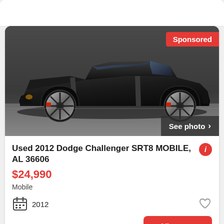[Figure (photo): Black 2012 Dodge Challenger SRT8 muscle car, side profile view, dark background/pavement setting]
Used 2012 Dodge Challenger SRT8 MOBILE, AL 36606
$24,990
Mobile
2012
30+ days ago
View car